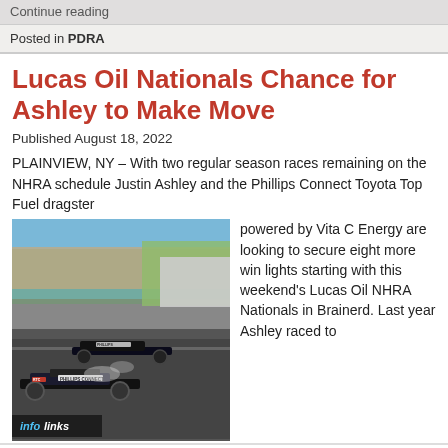Continue reading
Posted in PDRA
Lucas Oil Nationals Chance for Ashley to Make Move
Published August 18, 2022
PLAINVIEW, NY – With two regular season races remaining on the NHRA schedule Justin Ashley and the Phillips Connect Toyota Top Fuel dragster powered by Vita C Energy are looking to secure eight more win lights starting with this weekend's Lucas Oil NHRA Nationals in Brainerd. Last year Ashley raced to
[Figure (photo): Top Fuel dragster racing photo with crowds in the background at a racetrack, Phillips Connect branding visible on car]
Belk.com - Belk® - Official Site
Shop for clothing, handbags, jewelry, beauty, home & more!
www.belk.com